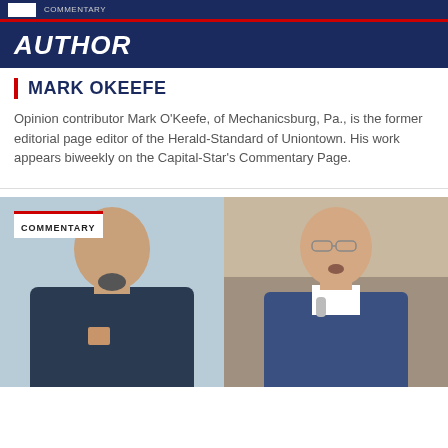COMMENTARY
AUTHOR
MARK OKEEFE
Opinion contributor Mark O'Keefe, of Mechanicsburg, Pa.,  is the former editorial page editor of the Herald-Standard of Uniontown. His work appears biweekly on the Capital-Star's Commentary Page.
[Figure (photo): Two-panel photo: left panel shows a bald man with goatee wearing a navy puffer vest; right panel shows a man in a blue suit speaking at a microphone. A 'COMMENTARY' tag overlays the top-left corner.]